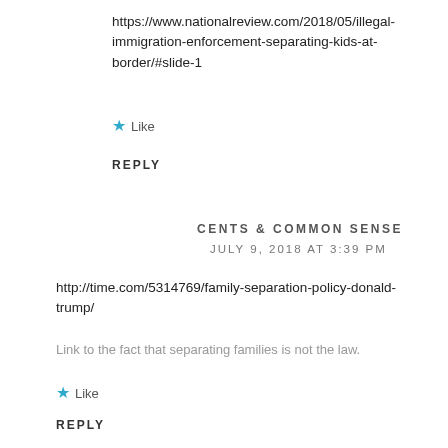https://www.nationalreview.com/2018/05/illegal-immigration-enforcement-separating-kids-at-border/#slide-1
★ Like
REPLY
CENTS & COMMON SENSE
JULY 9, 2018 AT 3:39 PM
http://time.com/5314769/family-separation-policy-donald-trump/
Link to the fact that separating families is not the law.
★ Like
REPLY